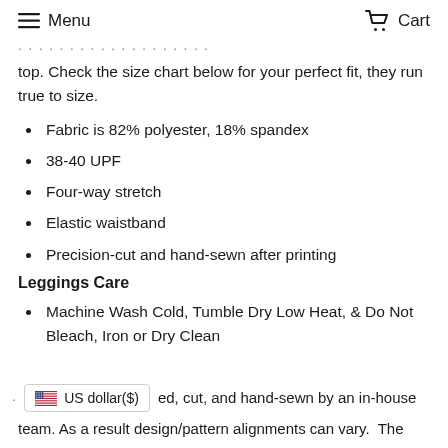Menu  Cart
top. Check the size chart below for your perfect fit, they run true to size.
Fabric is 82% polyester, 18% spandex
38-40 UPF
Four-way stretch
Elastic waistband
Precision-cut and hand-sewn after printing
Leggings Care
Machine Wash Cold, Tumble Dry Low Heat, & Do Not Bleach, Iron or Dry Clean
US dollar($)  ed, cut, and hand-sewn by an in-house team. As a result design/pattern alignments can vary.  The